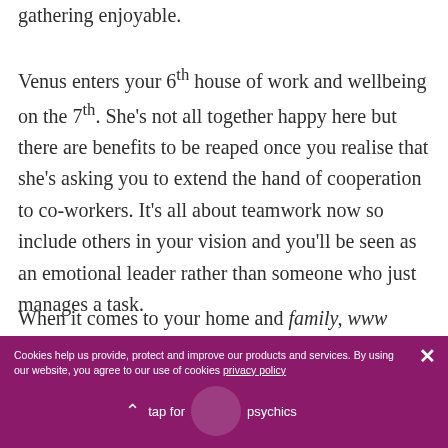gathering enjoyable.
Venus enters your 6th house of work and wellbeing on the 7th. She's not all together happy here but there are benefits to be reaped once you realise that she's asking you to extend the hand of cooperation to co-workers. It's all about teamwork now so include others in your vision and you'll be seen as an emotional leader rather than someone who just manages a task.
When it comes to your home and family, www...
Cookies help us provide, protect and improve our products and services. By using our website, you agree to our use of cookies privacy policy
tap for psychics